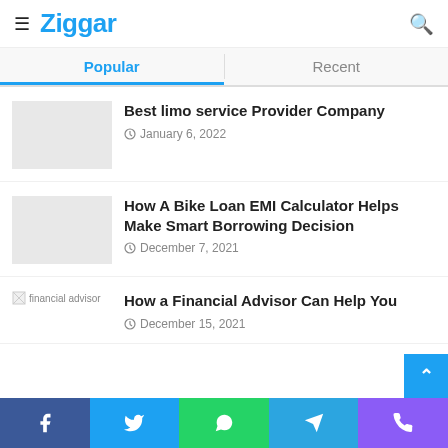Ziggar
Popular | Recent
Best limo service Provider Company
January 6, 2022
How A Bike Loan EMI Calculator Helps Make Smart Borrowing Decision
December 7, 2021
How a Financial Advisor Can Help You
December 15, 2021
Facebook | Twitter | WhatsApp | Telegram | Phone